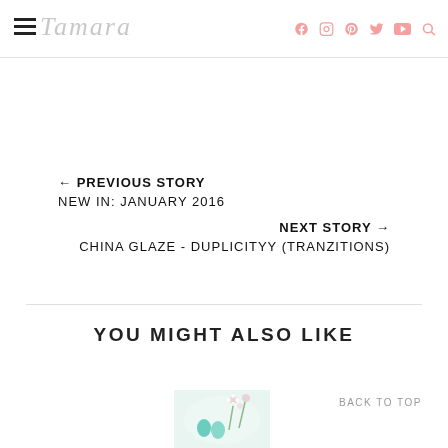Tamara blog header with hamburger menu, logo, and social icons (Facebook, Instagram, Pinterest, Twitter, YouTube, Search)
← PREVIOUS STORY
NEW IN: JANUARY 2016
NEXT STORY →
CHINA GLAZE - DUPLICITYY (TRANZITIONS)
YOU MIGHT ALSO LIKE
BACK TO TOP
[Figure (photo): Thumbnail image of a nail art or cosmetics related photo with teal/blue and floral elements]